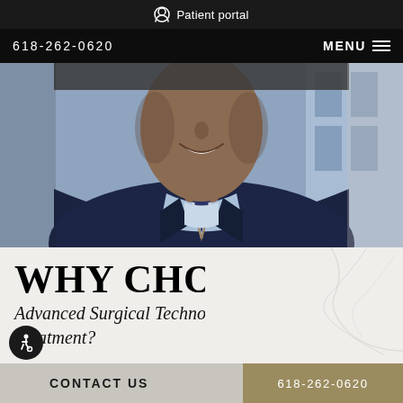Patient portal
618-262-0620   MENU
[Figure (photo): Portrait photo of a smiling male doctor/professional in a dark suit and striped tie, photographed from chest up, cropped at forehead level]
WHY CHOOSE
Advanced Surgical Technology For Aerolase Laser Treatment?
CONTACT US   618-262-0620